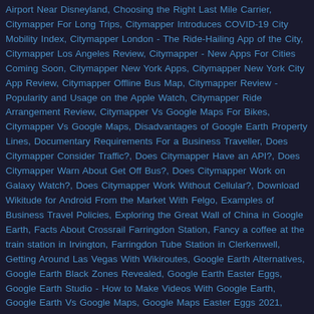Airport Near Disneyland, Choosing the Right Last Mile Carrier, Citymapper For Long Trips, Citymapper Introduces COVID-19 City Mobility Index, Citymapper London - The Ride-Hailing App of the City, Citymapper Los Angeles Review, Citymapper - New Apps For Cities Coming Soon, Citymapper New York Apps, Citymapper New York City App Review, Citymapper Offline Bus Map, Citymapper Review - Popularity and Usage on the Apple Watch, Citymapper Ride Arrangement Review, Citymapper Vs Google Maps For Bikes, Citymapper Vs Google Maps, Disadvantages of Google Earth Property Lines, Documentary Requirements For a Business Traveller, Does Citymapper Consider Traffic?, Does Citymapper Have an API?, Does Citymapper Warn About Get Off Bus?, Does Citymapper Work on Galaxy Watch?, Does Citymapper Work Without Cellular?, Download Wikitude for Android From the Market With Felgo, Examples of Business Travel Policies, Exploring the Great Wall of China in Google Earth, Facts About Crossrail Farringdon Station, Fancy a coffee at the train station in Irvington, Farringdon Tube Station in Clerkenwell, Getting Around Las Vegas With Wikiroutes, Google Earth Alternatives, Google Earth Black Zones Revealed, Google Earth Easter Eggs, Google Earth Studio - How to Make Videos With Google Earth, Google Earth Vs Google Maps, Google Maps Easter Eggs 2021, Google Maps Easter Eggs 2022, Google Maps Easter Eggs, Google Maps - New Location Sharing